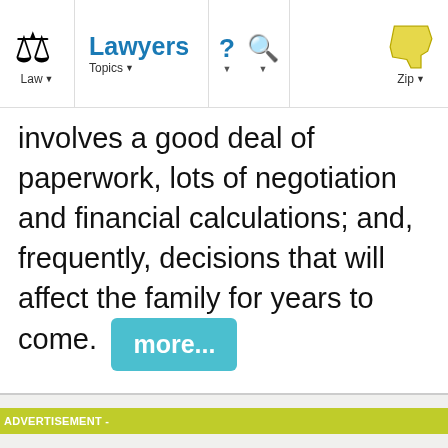Law | Lawyers | Topics | ? | Search | Zip
involves a good deal of paperwork, lots of negotiation and financial calculations; and, frequently, decisions that will affect the family for years to come. more...
ADVERTISEMENT -